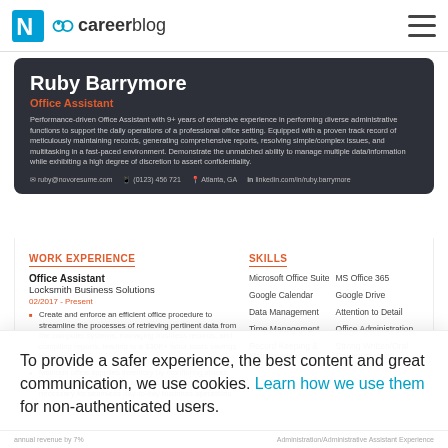careerblog
Ruby Barrymore
Office Assistant
Performance-driven Office Assistant with 9+ years of extensive experience in performing diverse administrative functions to support the daily operations of a professional office setting. Equipped with a proven track record of meticulously maintaining records, generating comprehensive reports, resolving simple/complex issues, and multitasking in a fast-paced environment. Demonstrate the unmatched ability to manage multiple data/information while exhibiting a high degree of discretion to assert confidentiality.
ruby@novoresume.com  |  (0123) 456 721  |  Atlanta, GA  |  linkedin.com/in/ruby.barrymore
WORK EXPERIENCE
Office Assistant
Locksmith Business Solutions
02/2017 - Present
Create and enforce an efficient office procedure to streamline the processes of retrieving pertinent data from the computer systems, managing business records, and compiling reports, leading to a $30K+ labor costs savings annually
Maintain office supplies inventory by monitoring stocks, anticipating requirements, and placing orders when necessary for seamless day-to-day business operations
SKILLS
Microsoft Office Suite
Google Calendar
Data Management
Time Management
Record Keeping & Maintenance
MS Office 365
Google Drive
Attention to Detail
Office Administration
Strong Written/Oral Communication
To provide a safer experience, the best content and great communication, we use cookies. Learn how we use them for non-authenticated users.
Manage Cookies
annual revenue by 7%